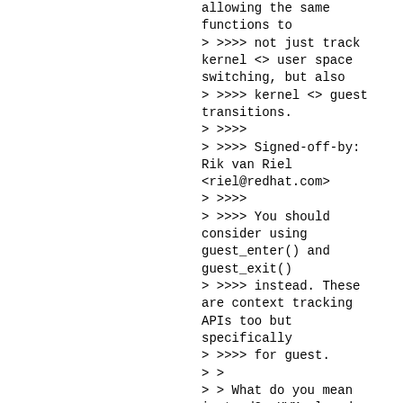allowing the same functions to
> >>>> not just track kernel <> user space switching, but also
> >>>> kernel <> guest transitions.
> >>>>
> >>>> Signed-off-by: Rik van Riel <riel@redhat.com>
> >>>>
> >>>> You should consider using guest_enter() and guest_exit()
> >>>> instead. These are context tracking APIs too but specifically
> >>>> for guest.
> >
> > What do you mean instead?  KVM already uses those.
> >
> > I just wanted to avoid duplicating the code...
> >